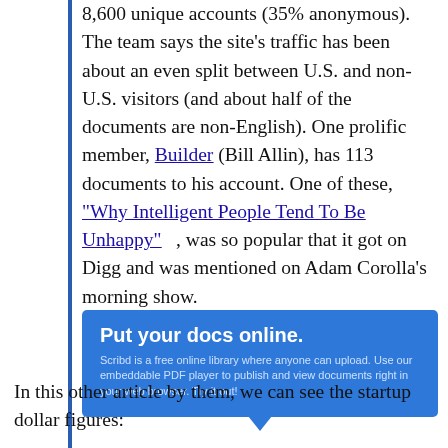8,600 unique accounts (35% anonymous). The team says the site's traffic has been about an even split between U.S. and non-U.S. visitors (and about half of the documents are non-English). One prolific member, Builder (Bill Allin), has 113 documents to his account. One of these, "Why Intelligent People Tend To Be Unhappy" , was so popular that it got on Digg and was mentioned on Adam Corolla's morning show.
[Figure (infographic): Blue advertisement banner reading 'Put your docs online.' with subtitle 'Scribd is a free online library where anyone can upload. Use our embeddable PDF player to publish and view documents right in your web browser. Try it out!' with a downward pointing speech bubble tail.]
In this other article by them, we can see the startup dollar figures: